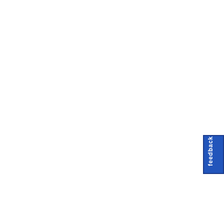| Stance | State | Bill | Sta… |
| --- | --- | --- | --- |
| [icon] | HI | HB1718 | Intr…
Sinc… |
| [icon] | HI | HB1926 | Intr…
Sinc… |
| [icon] | HI | HB1673 | Intr… |
| [icon] | HI | HB2004 | Sinc… |